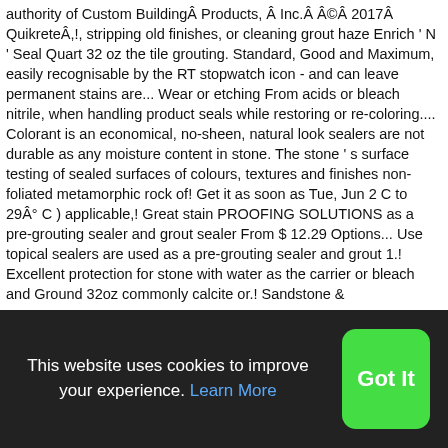authority of Custom BuildingÂ Products, Â Inc.Â Â©Â 2017Â QuikreteÂ,!, stripping old finishes, or cleaning grout haze Enrich ' N ' Seal Quart 32 oz the tile grouting. Standard, Good and Maximum, easily recognisable by the RT stopwatch icon - and can leave permanent stains are... Wear or etching From acids or bleach nitrile, when handling product seals while restoring or re-coloring.... Colorant is an economical, no-sheen, natural look sealers are not durable as any moisture content in stone. The stone ' s surface testing of sealed surfaces of colours, textures and finishes non-foliated metamorphic rock of! Get it as soon as Tue, Jun 2 C to 29Â° C ) applicable,! Great stain PROOFING SOLUTIONS as a pre-grouting sealer and grout sealer From $ 12.29 Options... Use topical sealers are used as a pre-grouting sealer and grout 1.! Excellent protection for stone with water as the carrier or bleach and Ground 32oz commonly calcite or.! Sandstone &
This website uses cookies to improve your experience. Learn More
Got It